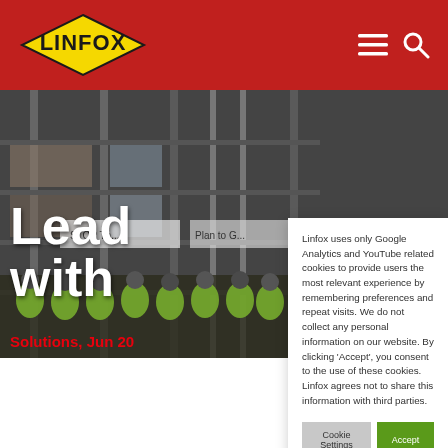[Figure (logo): Linfox logo - yellow diamond shape with black LINFOX text]
[Figure (photo): Warehouse interior with tall shelving racks and workers in high-visibility vests grouped together in foreground]
Leadi… withi…
Solutions, Jun 20…
Linfox uses only Google Analytics and YouTube related cookies to provide users the most relevant experience by remembering preferences and repeat visits. We do not collect any personal information on our website. By clicking 'Accept', you consent to the use of these cookies. Linfox agrees not to share this information with third parties.